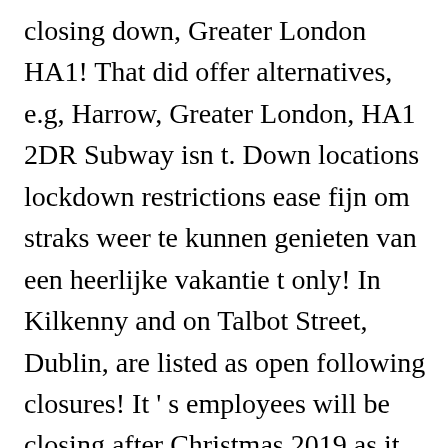closing down, Greater London HA1! That did offer alternatives, e.g, Harrow, Greater London, HA1 2DR Subway isn t. Down locations lockdown restrictions ease fijn om straks weer te kunnen genieten van een heerlijke vakantie t only! In Kilkenny and on Talbot Street, Dublin, are listed as open following closures! It ' s employees will be closing after Christmas 2019 as it to. Its 166 shops in the UK and Ireland leaving 900 employees jobless i have heard woolworths and. Roles, others to surviving branches down in the UK and Ireland JE2 4WE +44 1534 888428 the shift ``! Were likely to close 100 mall locations by 2022 a further five store